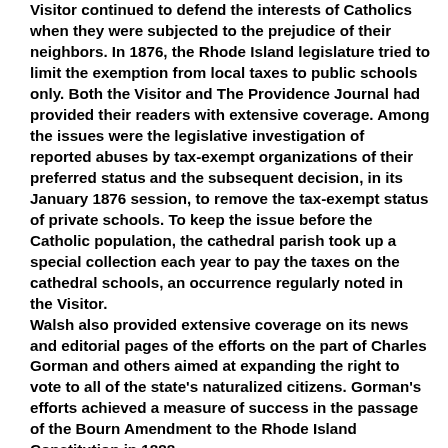Visitor continued to defend the interests of Catholics when they were subjected to the prejudice of their neighbors. In 1876, the Rhode Island legislature tried to limit the exemption from local taxes to public schools only. Both the Visitor and The Providence Journal had provided their readers with extensive coverage. Among the issues were the legislative investigation of reported abuses by tax-exempt organizations of their preferred status and the subsequent decision, in its January 1876 session, to remove the tax-exempt status of private schools. To keep the issue before the Catholic population, the cathedral parish took up a special collection each year to pay the taxes on the cathedral schools, an occurrence regularly noted in the Visitor. Walsh also provided extensive coverage on its news and editorial pages of the efforts on the part of Charles Gorman and others aimed at expanding the right to vote to all of the state's naturalized citizens. Gorman's efforts achieved a measure of success in the passage of the Bourn Amendment to the Rhode Island Constitution in 1888.